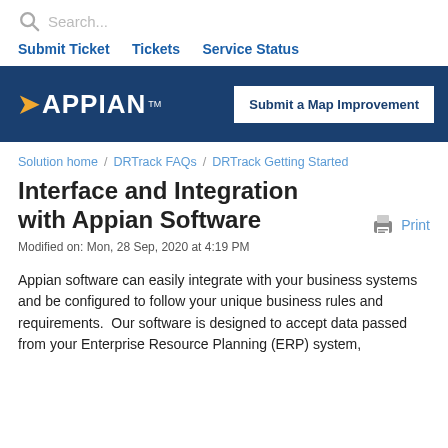Search...
Submit Ticket    Tickets    Service Status
[Figure (logo): Appian logo with white text on dark blue background banner, with 'Submit a Map Improvement' button]
Solution home / DRTrack FAQs / DRTrack Getting Started
Interface and Integration with Appian Software
Modified on: Mon, 28 Sep, 2020 at 4:19 PM
Appian software can easily integrate with your business systems and be configured to follow your unique business rules and requirements.  Our software is designed to accept data passed from your Enterprise Resource Planning (ERP) system,